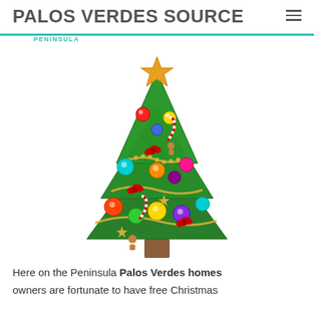PALOS VERDES SOURCE
PENINSULA
[Figure (illustration): A decorated Christmas tree with colorful ornaments, candy canes, gold garland, red bows, a star topper, and gingerbread figures on a white background.]
Here on the Peninsula Palos Verdes homes owners are fortunate to have free Christmas